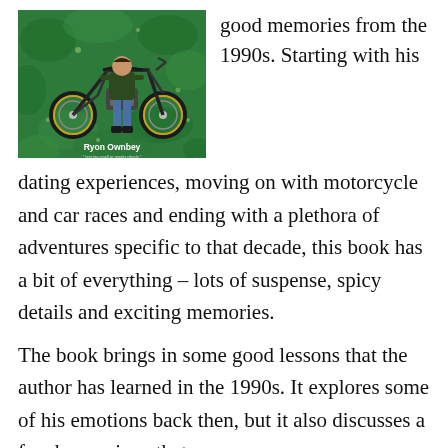[Figure (illustration): Book cover showing a person standing next to a motorcycle on a green background, with the author name 'Ryon Ownbey' displayed]
good memories from the 1990s. Starting with his dating experiences, moving on with motorcycle and car races and ending with a plethora of adventures specific to that decade, this book has a bit of everything – lots of suspense, spicy details and exciting memories.
The book brings in some good lessons that the author has learned in the 1990s. It explores some of his emotions back then, but it also discusses a few happenings that